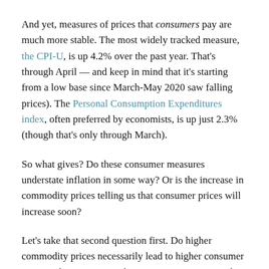And yet, measures of prices that consumers pay are much more stable. The most widely tracked measure, the CPI-U, is up 4.2% over the past year. That's through April — and keep in mind that it's starting from a low base since March-May 2020 saw falling prices). The Personal Consumption Expenditures index, often preferred by economists, is up just 2.3% (though that's only through March).
So what gives? Do these consumer measures understate inflation in some way? Or is the increase in commodity prices telling us that consumer prices will increase soon?
Let's take that second question first. Do higher commodity prices necessarily lead to higher consumer prices? The answer is a clear no. First, we can see that in the data. The